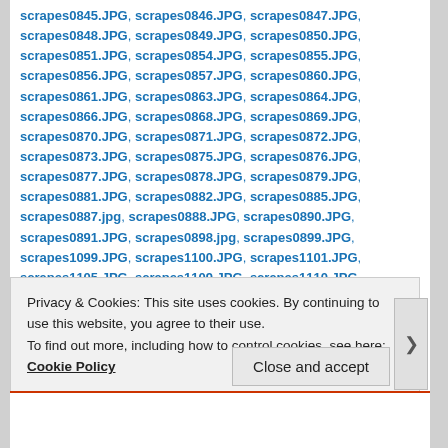scrapes0845.JPG, scrapes0846.JPG, scrapes0847.JPG, scrapes0848.JPG, scrapes0849.JPG, scrapes0850.JPG, scrapes0851.JPG, scrapes0854.JPG, scrapes0855.JPG, scrapes0856.JPG, scrapes0857.JPG, scrapes0860.JPG, scrapes0861.JPG, scrapes0863.JPG, scrapes0864.JPG, scrapes0866.JPG, scrapes0868.JPG, scrapes0869.JPG, scrapes0870.JPG, scrapes0871.JPG, scrapes0872.JPG, scrapes0873.JPG, scrapes0875.JPG, scrapes0876.JPG, scrapes0877.JPG, scrapes0878.JPG, scrapes0879.JPG, scrapes0881.JPG, scrapes0882.JPG, scrapes0885.JPG, scrapes0887.jpg, scrapes0888.JPG, scrapes0890.JPG, scrapes0891.JPG, scrapes0898.jpg, scrapes0899.JPG, scrapes1099.JPG, scrapes1100.JPG, scrapes1101.JPG, scrapes1105.JPG, scrapes1109.JPG, scrapes1110.JPG, scrapes1118.JPG, scrapes1121.JPG, scrapes1131.JPG, scrapes1140.JPG, scrapes1141.JPG, scrapes1142.JPG, scrapes1145.JPG, scrapes1146.JPG, scrapes1150.JPG
Privacy & Cookies: This site uses cookies. By continuing to use this website, you agree to their use. To find out more, including how to control cookies, see here: Cookie Policy